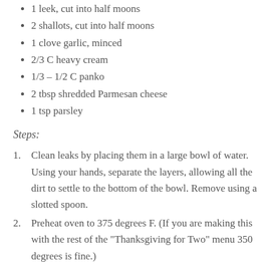1 leek, cut into half moons
2 shallots, cut into half moons
1 clove garlic, minced
2/3 C heavy cream
1/3 – 1/2 C panko
2 tbsp shredded Parmesan cheese
1 tsp parsley
Steps:
Clean leaks by placing them in a large bowl of water. Using your hands, separate the layers, allowing all the dirt to settle to the bottom of the bowl. Remove using a slotted spoon.
Preheat oven to 375 degrees F. (If you are making this with the rest of the "Thanksgiving for Two" menu 350 degrees is fine.)